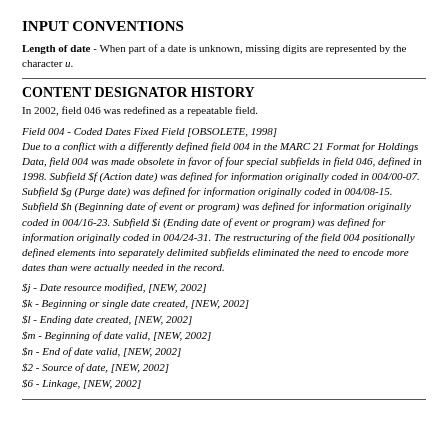INPUT CONVENTIONS
Length of date - When part of a date is unknown, missing digits are represented by the character u.
CONTENT DESIGNATOR HISTORY
In 2002, field 046 was redefined as a repeatable field.
Field 004 - Coded Dates Fixed Field [OBSOLETE, 1998]
Due to a conflict with a differently defined field 004 in the MARC 21 Format for Holdings Data, field 004 was made obsolete in favor of four special subfields in field 046, defined in 1998. Subfield $f (Action date) was defined for information originally coded in 004/00-07. Subfield $g (Purge date) was defined for information originally coded in 004/08-15. Subfield $h (Beginning date of event or program) was defined for information originally coded in 004/16-23. Subfield $i (Ending date of event or program) was defined for information originally coded in 004/24-31. The restructuring of the field 004 positionally defined elements into separately delimited subfields eliminated the need to encode more dates than were actually needed in the record.
$j - Date resource modified, [NEW, 2002]
$k - Beginning or single date created, [NEW, 2002]
$l - Ending date created, [NEW, 2002]
$m - Beginning of date valid, [NEW, 2002]
$n - End of date valid, [NEW, 2002]
$2 - Source of date, [NEW, 2002]
$6 - Linkage, [NEW, 2002]